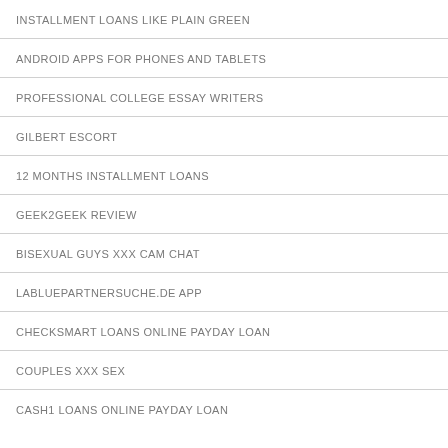INSTALLMENT LOANS LIKE PLAIN GREEN
ANDROID APPS FOR PHONES AND TABLETS
PROFESSIONAL COLLEGE ESSAY WRITERS
GILBERT ESCORT
12 MONTHS INSTALLMENT LOANS
GEEK2GEEK REVIEW
BISEXUAL GUYS XXX CAM CHAT
LABLUEPARTNERSUCHE.DE APP
CHECKSMART LOANS ONLINE PAYDAY LOAN
COUPLES XXX SEX
CASH1 LOANS ONLINE PAYDAY LOAN